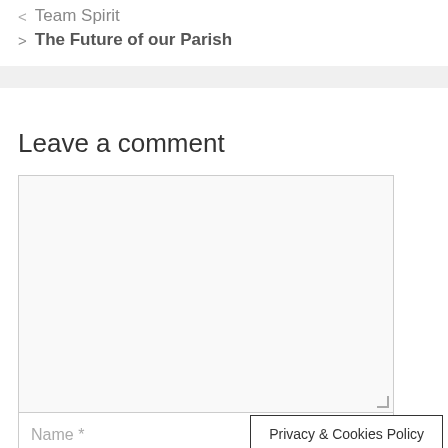< Team Spirit
> The Future of our Parish
Leave a comment
Name *
Privacy & Cookies Policy